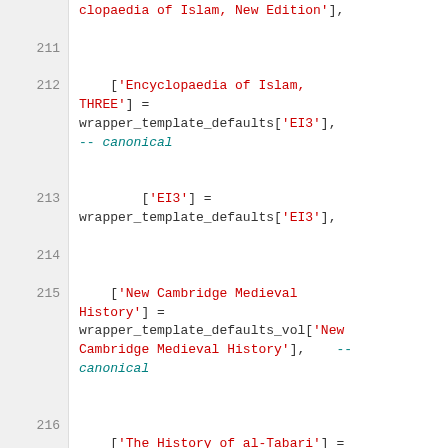Code snippet showing Lua/wiki template assignments for encyclopaedia entries, lines 211-217
[Figure (screenshot): Source code editor view showing lines 211-217 of a Lua module with string key assignments like ['Encyclopaedia of Islam, THREE'] = wrapper_template_defaults['EI3'], ['EI3'] = wrapper_template_defaults['EI3'], ['New Cambridge Medieval History'] = wrapper_template_defaults_vol['New Cambridge Medieval History'], and ['The History of al-Tabari'] = wrapper_template_defaults_vol['The History of al-Tabari']]